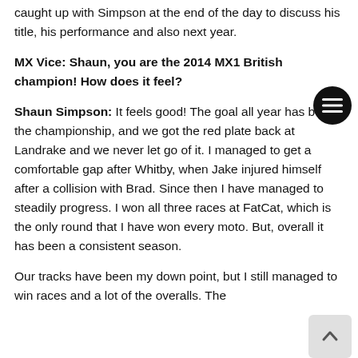caught up with Simpson at the end of the day to discuss his title, his performance and also next year.
MX Vice: Shaun, you are the 2014 MX1 British champion! How does it feel?
Shaun Simpson: It feels good! The goal all year has been the championship, and we got the red plate back at Landrake and we never let go of it. I managed to get a comfortable gap after Whitby, when Jake injured himself after a collision with Brad. Since then I have managed to steadily progress. I won all three races at FatCat, which is the only round that I have won every moto. But, overall it has been a consistent season.
Our tracks have been my down point, but I still managed to win races and a lot of the overalls. The